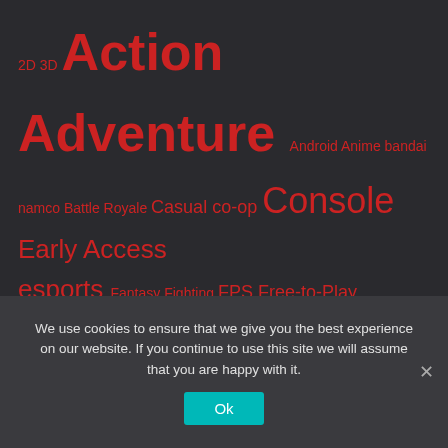[Figure (infographic): Tag cloud on dark background with red tags of various sizes: 2D, 3D, Action, Adventure, Android, Anime, bandai namco, Battle Royale, Casual, co-op, Console, Early Access, esports, Fantasy, Fighting, FPS, Free-to-Play, Handheld, Horror, Indie, IOs, MMORPG, mobile, Multiplayer, Nintendo, Nintendo Switch, Open-world, PC, platformer, PlayStation, PlayStation 4, Puzzle, Racing, RPG, sci-fi, shooter, Simulation, Sports, Square Enix, Steam, strategy, Survival, Ubisoft, updates, Xbox One]
We use cookies to ensure that we give you the best experience on our website. If you continue to use this site we will assume that you are happy with it.